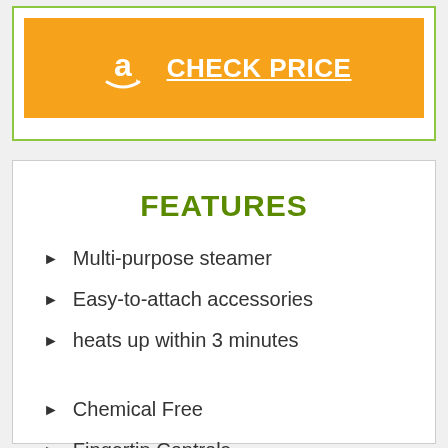[Figure (other): Amazon CHECK PRICE button with Amazon logo on orange background inside a green-bordered white card]
FEATURES
Multi-purpose steamer
Easy-to-attach accessories
heats up within 3 minutes
Chemical Free
Fingertip Controls